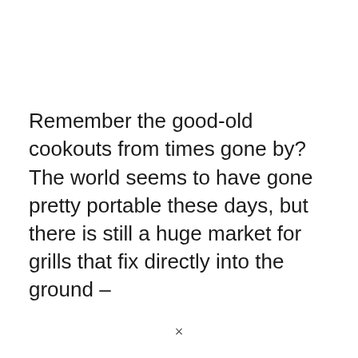Remember the good-old cookouts from times gone by? The world seems to have gone pretty portable these days, but there is still a huge market for grills that fix directly into the ground –
×